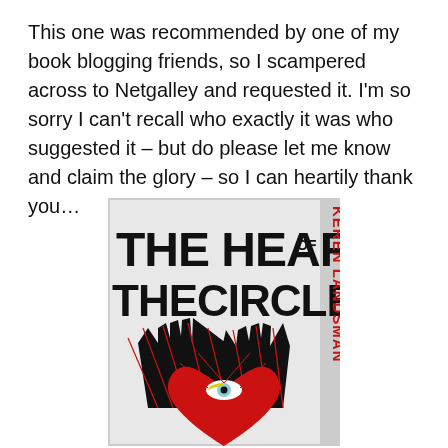This one was recommended by one of my book blogging friends, so I scampered across to Netgalley and requested it. I'm so sorry I can't recall who exactly it was who suggested it – but do please let me know and claim the glory – so I can heartily thank you…
[Figure (illustration): Book cover of 'The Heart of the Circle' by Keren Landsman. Features bold black text on a light grey/white background with the title 'THE HEART OF THE CIRCLE' in large black letters. The author name 'KEREN LANDSMAN' appears vertically in red on the right side. The lower half shows two black hands raised upward with red line details, and a large red heart at the center bottom with an eye motif inside it.]